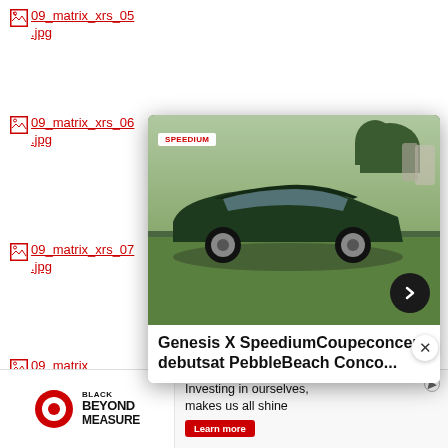[Figure (screenshot): Broken image placeholder for 09_matrix_xrs_05.jpg shown as red linked text with image icon]
[Figure (screenshot): Broken image placeholder for 09_matrix_xrs_06.jpg shown as red linked text with image icon]
[Figure (photo): Popup card showing Genesis X Speedium Coupe concept car at Pebble Beach Concours, dark green luxury coupe on grass with crowd in background, with navigation arrow button and logo overlay]
Genesis X SpeediumCoupeconcept debutsat PebbleBeach Conco...
[Figure (screenshot): Broken image placeholder for 09_matrix_xrs_07.jpg shown as red linked text with image icon]
[Figure (screenshot): Broken image placeholder for 09_matrix_s_15.jpg shown as red linked text with image icon]
[Figure (screenshot): Advertisement banner for Target Black Beyond Measure campaign with text: Investing in ourselves, makes us all shine]